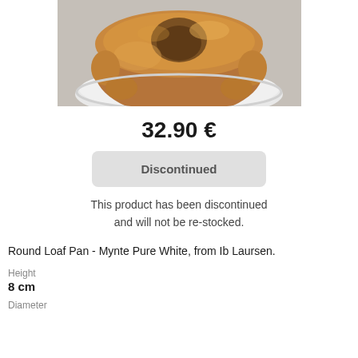[Figure (photo): Photo of a round bundt cake / loaf on a white plate, golden brown color, viewed from above-side angle]
32.90 €
Discontinued
This product has been discontinued and will not be re-stocked.
Round Loaf Pan - Mynte Pure White, from Ib Laursen.
Height
8 cm
Diameter